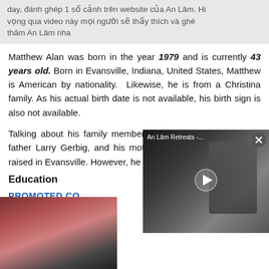day, đánh ghép 1 số cảnh trên website của An Lâm. Hi vọng qua video này mọi người sẽ thấy thích và ghé thăm An Lâm nha
Matthew Alan was born in the year 1979 and is currently 43 years old. Born in Evansville, Indiana, United States, Matthew is American by nationality.  Likewise, he is from a Christina family. As his actual birth date is not available, his birth sign is also not available.
Talking about his family members, Matthew was born to his father Larry Gerbig, and his mother Karen Gerbig. He was raised in Evansville. However, he has n…
Education
PROMOTED CO
[Figure (photo): Bottom left: partial photo with red/dark tones. Right overlapping video player showing 'An Lâm Retreats -...' with a play button, person on bicycle in outdoor setting.]